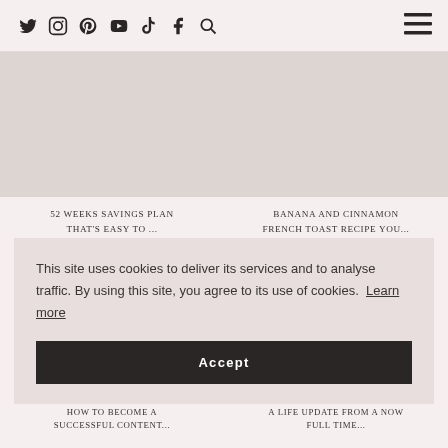Twitter Instagram Pinterest YouTube TikTok Facebook Search [hamburger menu]
52 WEEKS SAVINGS PLAN THAT'S EASY TO ...
BANANA AND CINNAMON FRENCH TOAST RECIPE YOU...
This site uses cookies to deliver its services and to analyse traffic. By using this site, you agree to its use of cookies. Learn more
Accept
HOW TO BECOME A SUCCESSFUL CONTENT...
A LIFE UPDATE FROM A NOW FULL TIME...